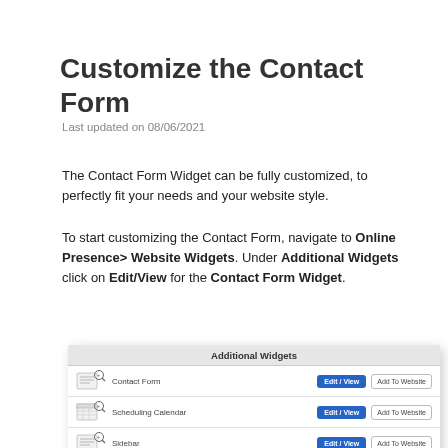Customize the Contact Form
Last updated on 08/06/2021
The Contact Form Widget can be fully customized, to perfectly fit your needs and your website style.
To start customizing the Contact Form, navigate to Online Presence> Website Widgets. Under Additional Widgets click on Edit/View for the Contact Form Widget.
[Figure (screenshot): Screenshot of the Additional Widgets panel showing Contact Form, Scheduling Calendar, and Sidebar rows, each with Edit/View and Add To Website buttons.]